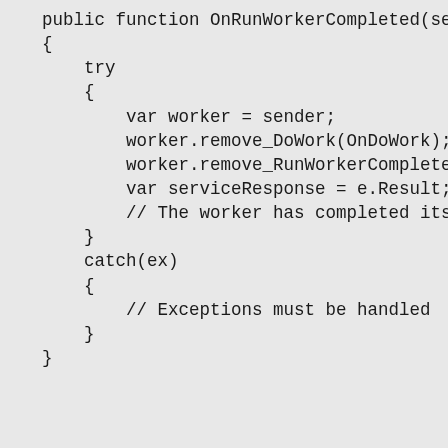public function OnRunWorkerCompleted(send
{
    try
    {
        var worker = sender;
        worker.remove_DoWork(OnDoWork);
        worker.remove_RunWorkerCompleted(O
        var serviceResponse = e.Result;
        // The worker has completed its wo
    }
    catch(ex)
    {
        // Exceptions must be handled
    }
}